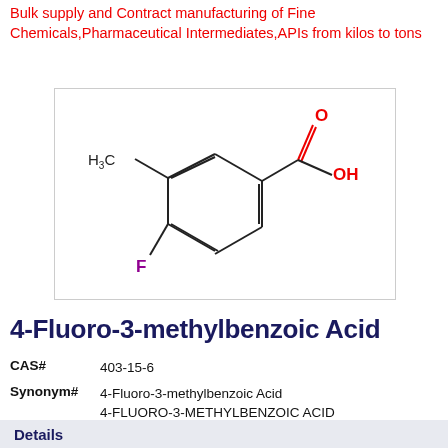Bulk supply and Contract manufacturing of Fine Chemicals,Pharmaceutical Intermediates,APIs from kilos to tons
[Figure (schematic): Chemical structure of 4-Fluoro-3-methylbenzoic Acid showing a benzene ring with a carboxylic acid group (C=O and OH in red), a methyl group (H3C), and a fluorine atom (F in purple)]
4-Fluoro-3-methylbenzoic Acid
| Field | Value |
| --- | --- |
| CAS# | 403-15-6 |
| Synonym# | 4-Fluoro-3-methylbenzoic Acid
4-FLUORO-3-METHYLBENZOIC ACID
4-Fluoro-m-toluic Acid |
Details